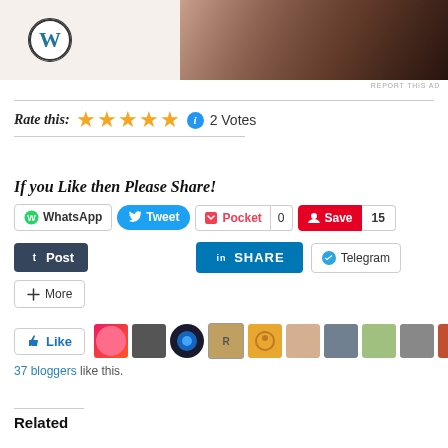[Figure (screenshot): Top banner area showing WordPress logo on left and laptop/hands photo on right]
REPORT THIS AD
Rate this: ★★★★★ 2 Votes
If you Like then Please Share!
WhatsApp  Tweet  Pocket 0  Save 15
Post  SHARE  Telegram
More
Like  [avatar images]  37 bloggers like this.
Related